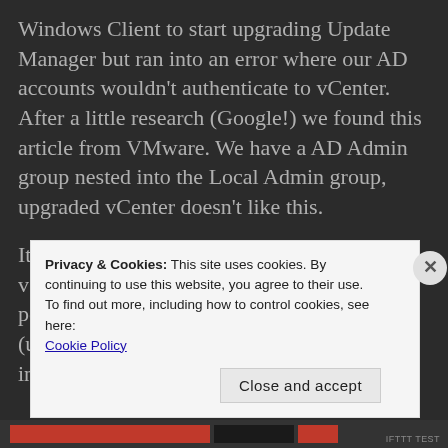Windows Client to start upgrading Update Manager but ran into an error where our AD accounts wouldn't authenticate to vCenter. After a little research (Google!) we found this article from VMware. We have a AD Admin group nested into the Local Admin group, upgraded vCenter doesn't like this.
It was an easy fix, log in using local admin to vSphere Web Client, go to vCenter permissions and add Domain Admin group (users to manage vCenter), then you are back in
Privacy & Cookies: This site uses cookies. By continuing to use this website, you agree to their use.
To find out more, including how to control cookies, see here:
Cookie Policy